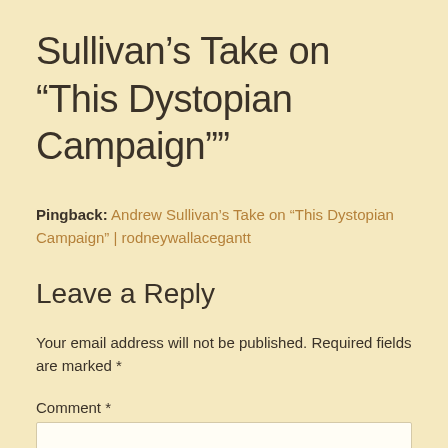Sullivan’s Take on “This Dystopian Campaign””
Pingback: Andrew Sullivan’s Take on “This Dystopian Campaign” | rodneywallacegantt
Leave a Reply
Your email address will not be published. Required fields are marked *
Comment *